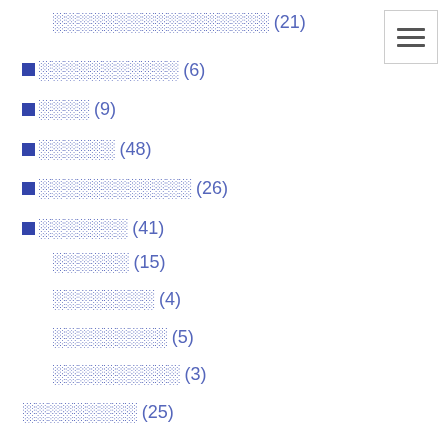░░░░░░░░░░░░░░░░░ (21)
■░░░░░░░░░░░ (6)
■░░░░ (9)
■░░░░░░ (48)
■░░░░░░░░░░░░ (26)
■░░░░░░░ (41)
░░░░░░ (15)
░░░░░░░░ (4)
░░░░░░░░░ (5)
░░░░░░░░░░ (3)
░░░░░░░░░ (25)